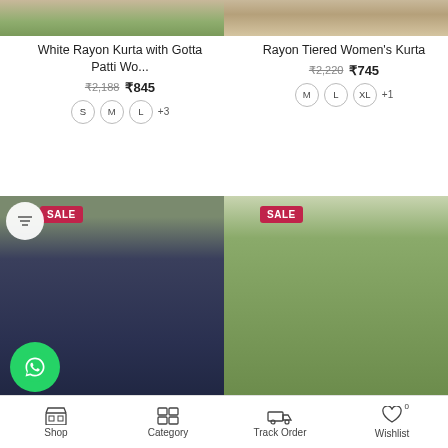[Figure (photo): Cropped product image showing feet/sandals on grass - White Rayon Kurta]
[Figure (photo): Cropped product image showing feet/sandals - Rayon Tiered Women's Kurta]
White Rayon Kurta with Gotta Patti Wo...
₹2,188  ₹845
S  M  L  +3
Rayon Tiered Women's Kurta
₹2,220  ₹745
M  L  XL  +1
[Figure (photo): Woman wearing dark navy kurta with embroidery, SALE badge]
[Figure (photo): Woman wearing light green anarkali kurta outdoors, SALE badge]
[Figure (other): WhatsApp chat button]
Shop  Category  Track Order  Wishlist